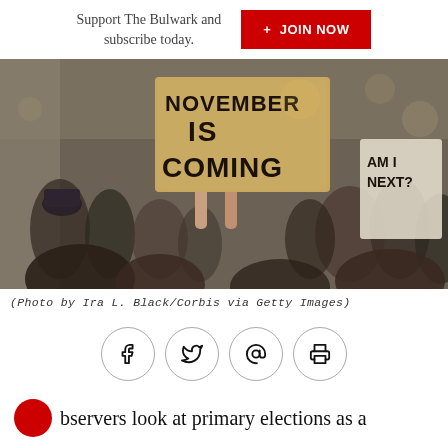Support The Bulwark and subscribe today.
+ JOIN NOW
[Figure (photo): A protest scene showing a person holding a cardboard sign reading 'NOVEMBER IS COMING' in large black letters, with a crowd of protesters in the background. Another sign reading 'AM I NEXT?' is visible on the right.]
(Photo by Ira L. Black/Corbis via Getty Images)
[Figure (infographic): Social sharing icons: Facebook, Twitter, Email (@), Print]
bservers look at primary elections as a